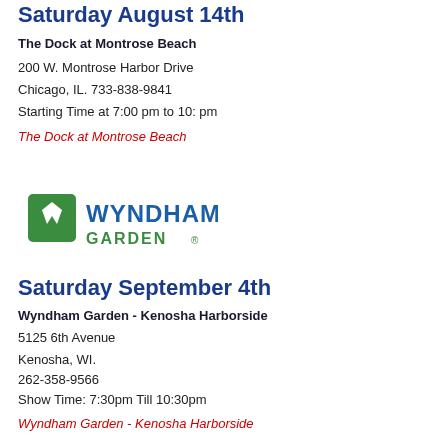Saturday August 14th
The Dock at Montrose Beach
200 W. Montrose Harbor Drive
Chicago, IL. 733-838-9841
Starting Time at 7:00 pm to 10: pm
The Dock at Montrose Beach
[Figure (logo): Wyndham Garden hotel logo — green square with white W symbol on left, green text WYNDHAM large and GARDEN below]
Saturday September 4th
Wyndham Garden - Kenosha Harborside
5125 6th Avenue
Kenosha, WI.
262-358-9566
Show Time: 7:30pm Till 10:30pm
Wyndham Garden - Kenosha Harborside